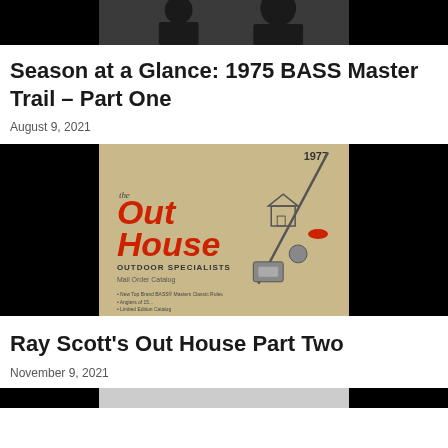[Figure (photo): Top portion of a black and white photo showing two people, cropped at the top of the page]
Season at a Glance: 1975 BASS Master Trail – Part One
August 9, 2021
[Figure (photo): 1977 Out House Outdoor Specialists Mail Order Catalog cover featuring a fishing rod, reel, belt buckle, and red lure on a tan background, flanked by black panels]
Ray Scott's Out House Part Two
November 9, 2021
[Figure (photo): Bottom strip showing the top edge of another image, cut off at the bottom of the page]